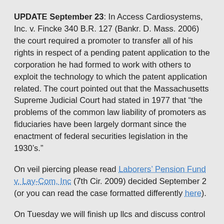UPDATE September 23: In Access Cardiosystems, Inc. v. Fincke 340 B.R. 127 (Bankr. D. Mass. 2006) the court required a promoter to transfer all of his rights in respect of a pending patent application to the corporation he had formed to work with others to exploit the technology to which the patent application related. The court pointed out that the Massachusetts Supreme Judicial Court had stated in 1977 that “the problems of the common law liability of promoters as fiduciaries have been largely dormant since the enactment of federal securities legislation in the 1930’s.”
On veil piercing please read Laborers’ Pension Fund v. Lay-Com, Inc (7th Cir. 2009) decided September 2 (or you can read the case formatted differently here).
On Tuesday we will finish up llcs and discuss control